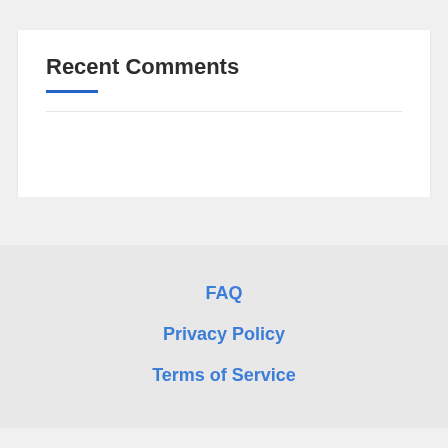Recent Comments
FAQ
Privacy Policy
Terms of Service